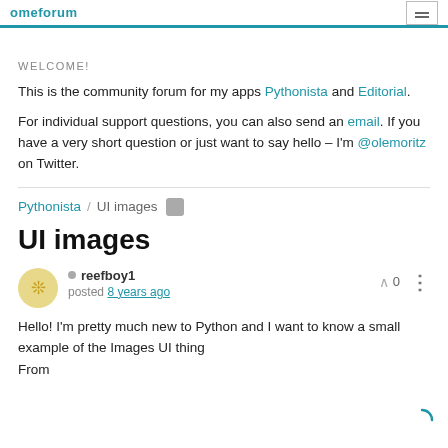omeforum
WELCOME!
This is the community forum for my apps Pythonista and Editorial.
For individual support questions, you can also send an email. If you have a very short question or just want to say hello – I'm @olemoritz on Twitter.
Pythonista / UI images
UI images
reefboy1 posted 8 years ago
Hello! I'm pretty much new to Python and I want to know a small example of the Images UI thing
From